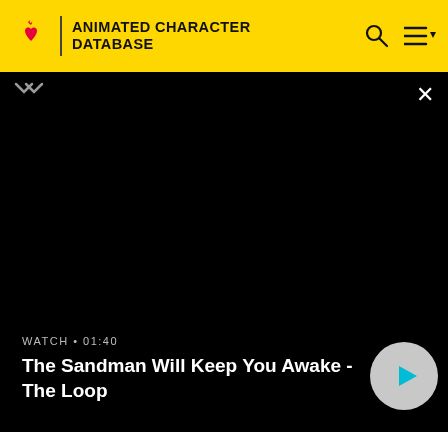ANIMATED CHARACTER DATABASE
[Figure (screenshot): Video player showing black screen with title 'The Sandman Will Keep You Awake - The Loop', WATCH • 01:40 label, and a circular play button]
WATCH • 01:40
The Sandman Will Keep You Awake - The Loop
Blue Devil
Booster Gold
Bruce Wayne(Batman)
Captain Nathaniel Adams(Captain Atom)
Commander Steel